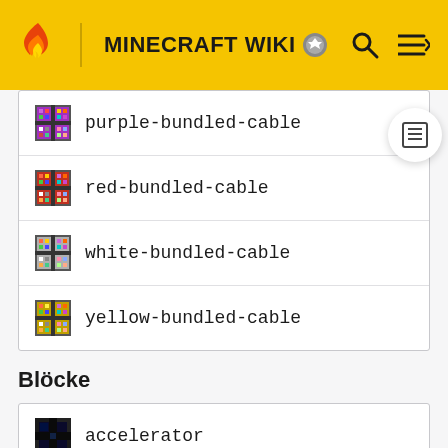MINECRAFT WIKI
purple-bundled-cable
red-bundled-cable
white-bundled-cable
yellow-bundled-cable
Blöcke
accelerator
alloy-furnace
and-gate